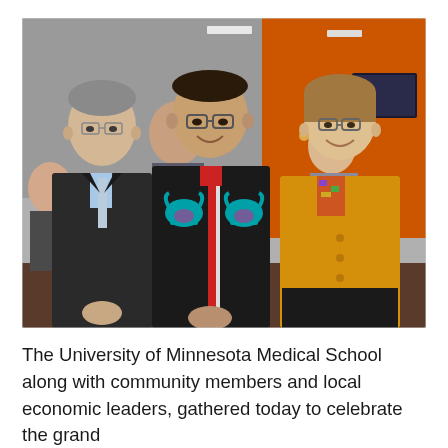[Figure (photo): Three people standing and posing for a photo indoors. On the left, a tall man in a dark suit with a light blue shirt and tie, wearing glasses. In the center, a man wearing a black jacket with turquoise bull head decorations and a red stripe, wearing glasses. On the right, a woman in a yellow/mustard blazer with a colorful scarf, wearing glasses and earrings. In the background are other people and an orange wall with a TV screen.]
The University of Minnesota Medical School along with community members and local economic leaders, gathered today to celebrate the grand